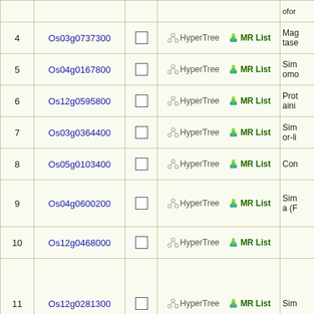| # | Gene ID |  | Links | Description |
| --- | --- | --- | --- | --- |
| 4 | Os03g0737300 | ☐ | HyperTree  MR List | Mag...tase... |
| 5 | Os04g0167800 | ☐ | HyperTree  MR List | Sim...omo... |
| 6 | Os12g0595800 | ☐ | HyperTree  MR List | Prot...aini... |
| 7 | Os03g0364400 | ☐ | HyperTree  MR List | Sim...or-li... |
| 8 | Os05g0103400 | ☐ | HyperTree  MR List | Con... |
| 9 | Os04g0600200 | ☐ | HyperTree  MR List | Sim...a (F... |
| 10 | Os12g0468000 | ☐ | HyperTree  MR List |  |
| 11 | Os12g0281300 | ☐ | HyperTree  MR List | Sim... |
| 12 | Os01g0841700 | ☐ | HyperTree  MR List | RPP... |